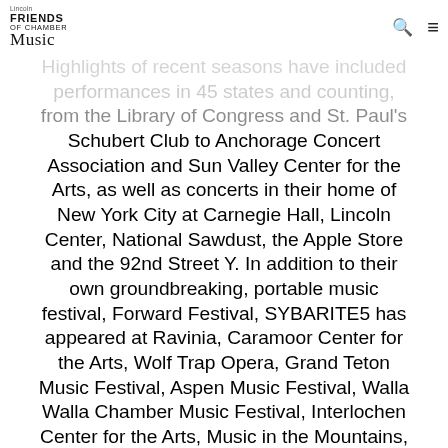Lincoln Friends of Chamber Music
Highlights of recent seasons have included performances in 45 states and counting, from the Library of Congress and St. Paul's Schubert Club to Anchorage Concert Association and Sun Valley Center for the Arts, as well as concerts in their home of New York City at Carnegie Hall, Lincoln Center, National Sawdust, the Apple Store and the 92nd Street Y. In addition to their own groundbreaking, portable music festival, Forward Festival, SYBARITE5 has appeared at Ravinia, Caramoor Center for the Arts, Wolf Trap Opera, Grand Teton Music Festival, Aspen Music Festival, Walla Walla Chamber Music Festival, Interlochen Center for the Arts, Music in the Mountains, Chautauqua Music Festival, Green Lake Music Festival, Look and Listen Festival and